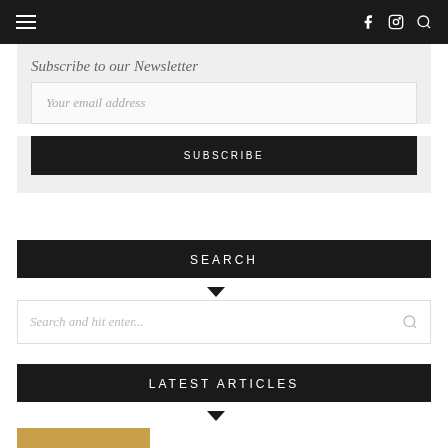Navigation bar with hamburger menu, social icons (f, Instagram), and search icon
Subscribe to our Newsletter
Your email address
SUBSCRIBE
SEARCH
Search and hit enter...
LATEST ARTICLES